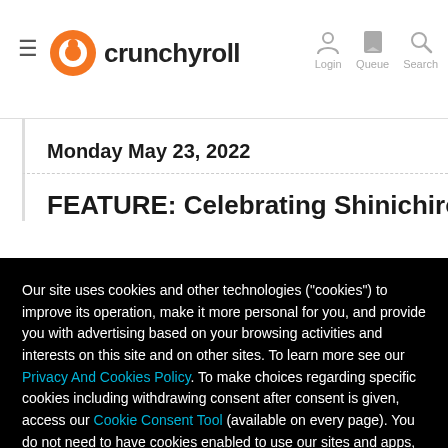crunchyroll — Login | Queue | Search
Monday May 23, 2022
FEATURE: Celebrating Shinichiro Wata
Our site uses cookies and other technologies ("cookies") to improve its operation, make it more personal for you, and provide you with advertising based on your browsing activities and interests on this site and on other sites. To learn more see our Privacy And Cookies Policy. To make choices regarding specific cookies including withdrawing consent after consent is given, access our Cookie Consent Tool (available on every page). You do not need to have cookies enabled to use our sites and apps, but turning them off may affect your experience on our sites and apps. By clicking 'Accept', you agree cookies can be used for these purposes and for the sharing of your data with Sony Pictures and Sony group companies.
Reject all non-essential cookie
Accept all cookies